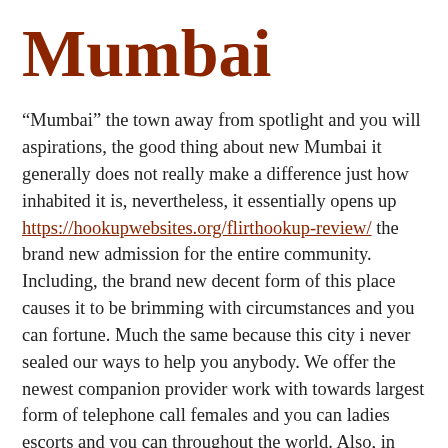Mumbai
“Mumbai” the town away from spotlight and you will aspirations, the good thing about new Mumbai it generally does not really make a difference just how inhabited it is, nevertheless, it essentially opens up https://hookupwebsites.org/flirthookup-review/ the brand new admission for the entire community. Including, the brand new decent form of this place causes it to be brimming with circumstances and you can fortune. Much the same because this city i never sealed our ways to help you anybody. We offer the newest companion provider work with towards largest form of telephone call females and you can ladies escorts and you can throughout the world. Also, in order to continue the kind of your own our escorts solution, we generally suffice the clients more than its wishes. I render the Mumbai escorts provider to any or all style of